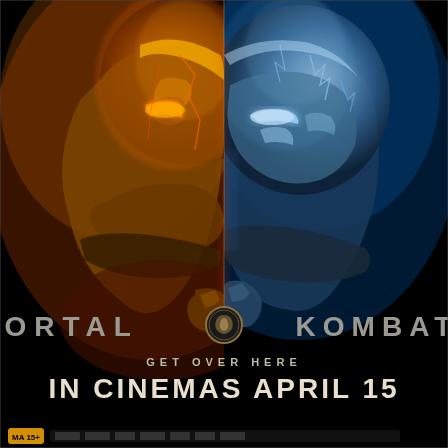[Figure (illustration): Mortal Kombat 2021 movie poster. Left half shows Scorpion's golden/orange fire mask with glowing amber tones. Right half shows Sub-Zero's icy blue mask with frost and cold vapor effects. The two halves are split down the center with a thin red/orange glow line. Both characters' hands are visible near the center bottom of the mask area. Background is black.]
MORTAL KOMBAT
GET OVER HERE
IN CINEMAS APRIL 15